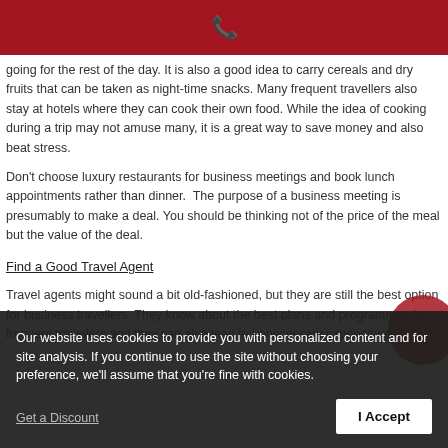[phone icon]
going for the rest of the day. It is also a good idea to carry cereals and dry fruits that can be taken as night-time snacks. Many frequent travellers also stay at hotels where they can cook their own food. While the idea of cooking during a trip may not amuse many, it is a great way to save money and also beat stress.
Don't choose luxury restaurants for business meetings and book lunch appointments rather than dinner. The purpose of a business meeting is presumably to make a deal. You should be thinking not of the price of the meal but the value of the deal.
Find a Good Travel Agent
Travel agents might sound a bit old-fashioned, but they are still the best option for many business travellers. They know about the best plans and programmes for frequent travellers and they can also lead to unnecessary expenditures.
Our website uses cookies to provide you with personalized content and for site analysis. If you continue to use the site without choosing your preference, we'll assume that you're fine with cookies.
I Accept
Get a Discount